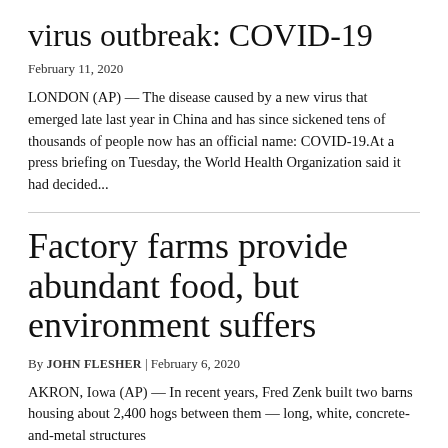virus outbreak: COVID-19
February 11, 2020
LONDON (AP) — The disease caused by a new virus that emerged late last year in China and has since sickened tens of thousands of people now has an official name: COVID-19.At a press briefing on Tuesday, the World Health Organization said it had decided...
Factory farms provide abundant food, but environment suffers
By JOHN FLESHER | February 6, 2020
AKRON, Iowa (AP) — In recent years, Fred Zenk built two barns housing about 2,400 hogs between them — long, white, concrete-and-metal structures